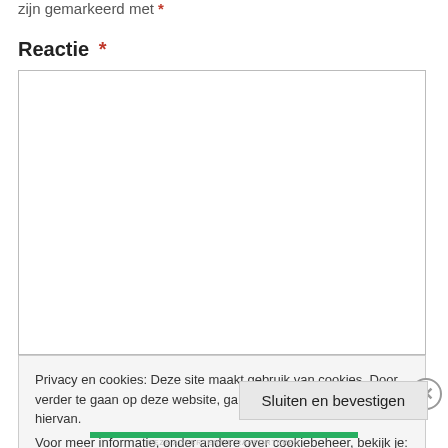zijn gemarkeerd met *
Reactie *
[Figure (other): Empty textarea input field with border]
Privacy en cookies: Deze site maakt gebruik van cookies. Door verder te gaan op deze website, ga je akkoord met het gebruik hiervan. Voor meer informatie, onder andere over cookiebeheer, bekijk je: Cookiebeleid
Sluiten en bevestigen